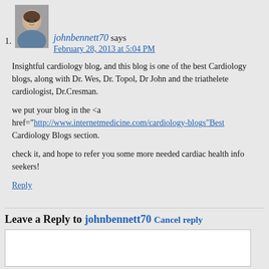1. johnbennett70 says
February 28, 2013 at 5:04 PM

Insightful cardiology blog, and this blog is one of the best Cardiology blogs, along with Dr. Wes, Dr. Topol, Dr John and the triathelete cardiologist, Dr.Cresman.

we put your blog in the <a href="http://www.internetmedicine.com/cardiology-blogs"Best Cardiology Blogs section.

check it, and hope to refer you some more needed cardiac health info seekers!

Reply
Leave a Reply to johnbennett70 Cancel reply